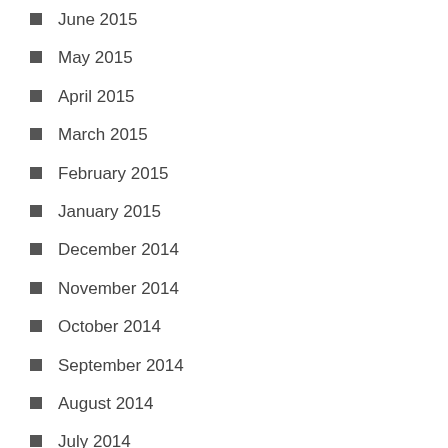June 2015
May 2015
April 2015
March 2015
February 2015
January 2015
December 2014
November 2014
October 2014
September 2014
August 2014
July 2014
SITE MAP
About
News